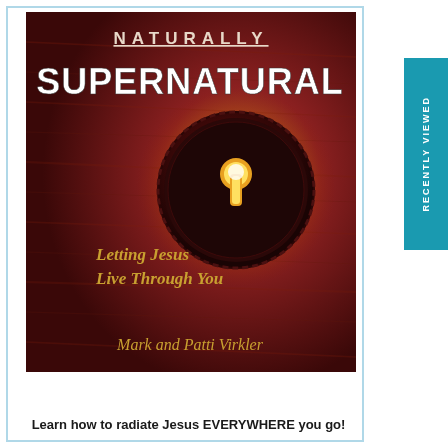[Figure (illustration): Book cover of 'Naturally Supernatural: Letting Jesus Live Through You' by Mark and Patti Virkler. Dark reddish-brown background with wood grain texture, featuring a glowing keyhole/lock mechanism in the center emitting golden light. Title 'NATURALLY SUPERNATURAL' at top in bold white letters. Subtitle 'Letting Jesus Live Through You' in gold italic text on the lower left. Author names 'Mark and Patti Virkler' in gold script at the bottom.]
Learn how to radiate Jesus EVERYWHERE you go!